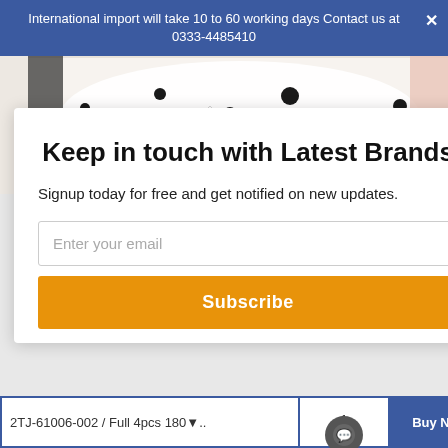International import will take 10 to 60 working days Contact us at 0333-4485410
[Figure (photo): White polka dot fabric/bedding product photo]
Keep in touch with Latest Brands
Signup today for free and get notified on new updates.
Enter your email
Subscribe
2TJ-61006-002 / Full 4pcs 180...
1
Buy Now